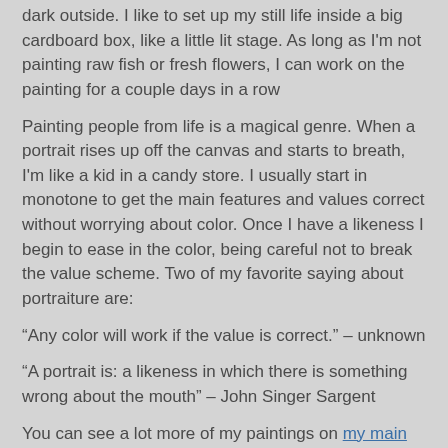dark outside. I like to set up my still life inside a big cardboard box, like a little lit stage. As long as I'm not painting raw fish or fresh flowers, I can work on the painting for a couple days in a row
Painting people from life is a magical genre. When a portrait rises up off the canvas and starts to breath, I'm like a kid in a candy store. I usually start in monotone to get the main features and values correct without worrying about color. Once I have a likeness I begin to ease in the color, being careful not to break the value scheme. Two of my favorite saying about portraiture are:
“Any color will work if the value is correct.” – unknown
“A portrait is: a likeness in which there is something wrong about the mouth” – John Singer Sargent
You can see a lot more of my paintings on my main website.
Recent Posts
Return to Squamish
August 13, 2022